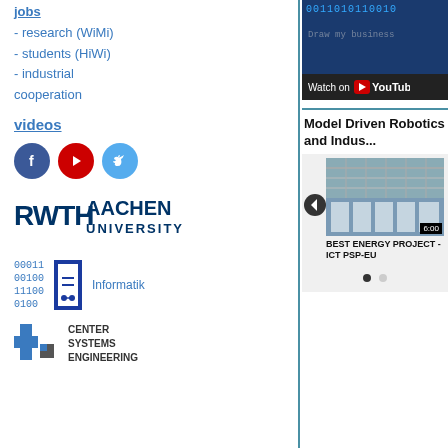jobs
- research (WiMi)
- students (HiWi)
- industrial cooperation
videos
[Figure (logo): Social media icons: Facebook (blue circle), YouTube (red circle), Twitter (light blue circle)]
[Figure (logo): RWTH Aachen University logo]
[Figure (logo): Informatik logo with binary numbers]
[Figure (logo): Center Systems Engineering logo]
[Figure (screenshot): YouTube video thumbnail with binary numbers overlay and Watch on YouTube button]
Model Driven Robotics and Indus...
[Figure (screenshot): Video carousel showing building with glass ceiling, with back button and 6:00 duration. Caption: BEST ENERGY PROJECT - ICT PSP-EU]
BEST ENERGY PROJECT - ICT PSP-EU